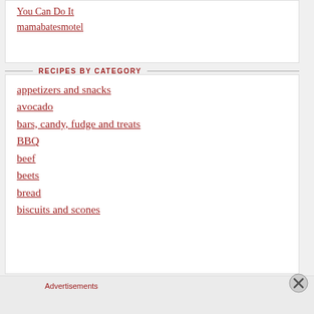You Can Do It
mamabatesmotel
RECIPES BY CATEGORY
appetizers and snacks
avocado
bars, candy, fudge and treats
BBQ
beef
beets
bread
biscuits and scones
Advertisements